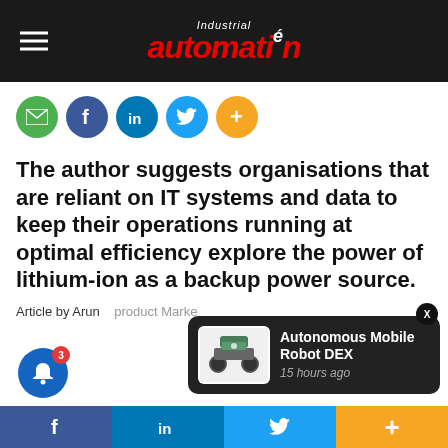Industrial automation ASIA
[Figure (infographic): Social sharing icons: email (green), Facebook (blue), LinkedIn (blue), Twitter (light blue), plus/more (orange)]
The author suggests organisations that are reliant on IT systems and data to keep their operations running at optimal efficiency explore the power of lithium-ion as a backup power source.
Article by Arun... Product Marke...
[Figure (photo): Popup notification showing an Autonomous Mobile Robot DEX, 15 hours ago]
Facebook | LinkedIn | Twitter | More